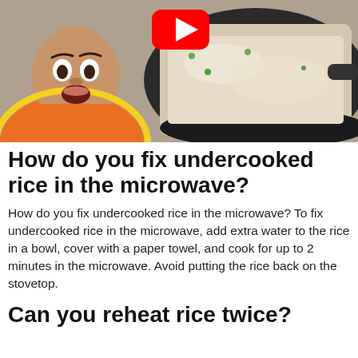[Figure (photo): YouTube video thumbnail showing a man in an orange hoodie with a surprised expression on the left, and a pan of rice with vegetables on the right, with a YouTube play button icon in the upper center.]
How do you fix undercooked rice in the microwave?
How do you fix undercooked rice in the microwave? To fix undercooked rice in the microwave, add extra water to the rice in a bowl, cover with a paper towel, and cook for up to 2 minutes in the microwave. Avoid putting the rice back on the stovetop.
Can you reheat rice twice?